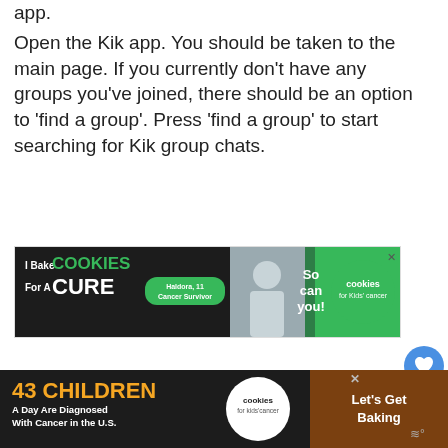app.
Open the Kik app. You should be taken to the main page. If you currently don't have any groups you've joined, there should be an option to 'find a group'. Press 'find a group' to start searching for Kik group chats.
[Figure (other): Advertisement banner for 'Cookies for Kids' Cancer: 'I Bake COOKIES For A CURE - Haldora, 11 Cancer Survivor - So can you! cookies for kids cancer']
[Figure (other): Bottom advertisement banner: '43 CHILDREN A Day Are Diagnosed With Cancer in the U.S. cookies for kids'cancer Let's Get Baking']